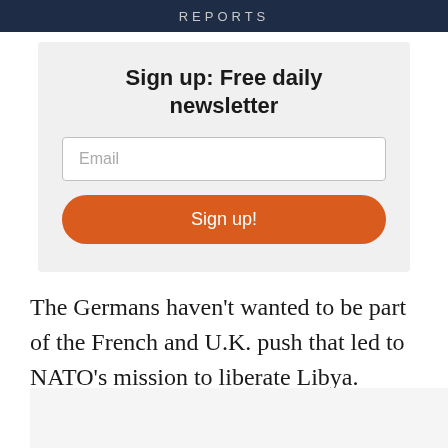REPORTS
Sign up: Free daily newsletter
The Germans haven't wanted to be part of the French and U.K. push that led to NATO's mission to liberate Libya.